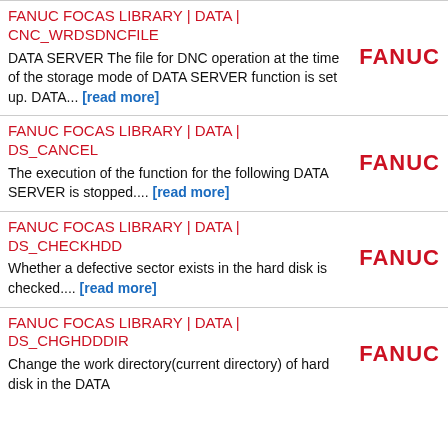FANUC FOCAS LIBRARY | DATA | CNC_WRDSDNCFILE
DATA SERVER The file for DNC operation at the time of the storage mode of DATA SERVER function is set up. DATA... [read more]
FANUC FOCAS LIBRARY | DATA | DS_CANCEL
The execution of the function for the following DATA SERVER is stopped.... [read more]
FANUC FOCAS LIBRARY | DATA | DS_CHECKHDD
Whether a defective sector exists in the hard disk is checked.... [read more]
FANUC FOCAS LIBRARY | DATA | DS_CHGHDDDIR
Change the work directory(current directory) of hard disk in the DATA